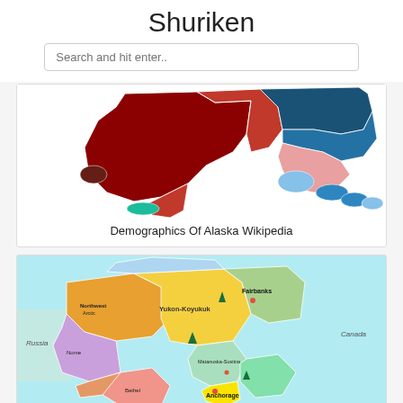Shuriken
Search and hit enter..
[Figure (map): Choropleth map of Alaska showing demographic data by borough/region in shades of red, dark red/maroon, blue, light blue, pink, and teal.]
Demographics Of Alaska Wikipedia
[Figure (map): Political/regional map of Alaska showing boroughs and census areas with labels for regions such as Yukon-Koyukuk, Northwest Arctic, Fairbanks, Anchorage, and neighboring areas Russia and Canada.]